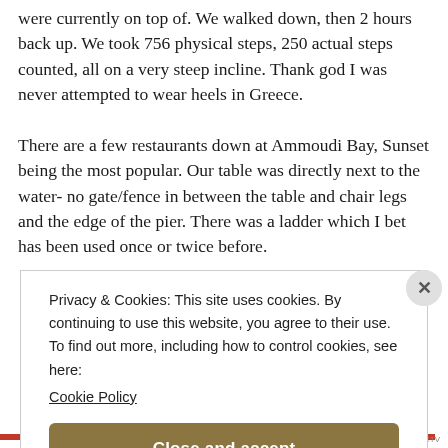were currently on top of. We walked down, then 2 hours back up. We took 756 physical steps, 250 actual steps counted, all on a very steep incline. Thank god I was never attempted to wear heels in Greece.

There are a few restaurants down at Ammoudi Bay, Sunset being the most popular. Our table was directly next to the water- no gate/fence in between the table and chair legs and the edge of the pier. There was a ladder which I bet has been used once or twice before.
Privacy & Cookies: This site uses cookies. By continuing to use this website, you agree to their use.
To find out more, including how to control cookies, see here:
Cookie Policy
Close and accept